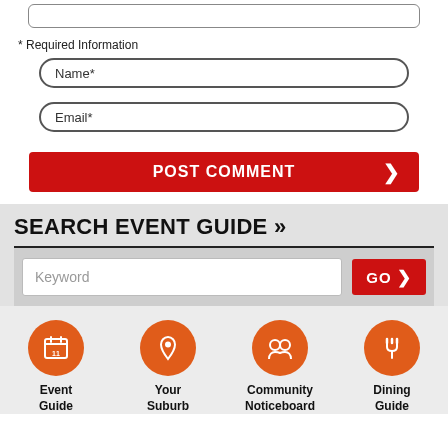[Figure (screenshot): Text area input box at top of page]
* Required Information
[Figure (screenshot): Name* input field (rounded border)]
[Figure (screenshot): Email* input field (rounded border)]
[Figure (screenshot): POST COMMENT red button with right arrow]
SEARCH EVENT GUIDE »
[Figure (screenshot): Keyword search input with GO button]
[Figure (infographic): Four orange circular icons: Event Guide, Your Suburb, Community Noticeboard, Dining Guide]